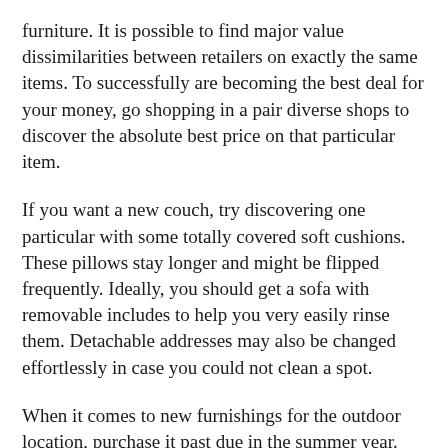furniture. It is possible to find major value dissimilarities between retailers on exactly the same items. To successfully are becoming the best deal for your money, go shopping in a pair diverse shops to discover the absolute best price on that particular item.
If you want a new couch, try discovering one particular with some totally covered soft cushions. These pillows stay longer and might be flipped frequently. Ideally, you should get a sofa with removable includes to help you very easily rinse them. Detachable addresses may also be changed effortlessly in case you could not clean a spot.
When it comes to new furnishings for the outdoor location, purchase it past due in the summer year. Following summer time, stores have an interest in generating room for drop and winter months things. Because of this they will probably offer you less expensive costs.